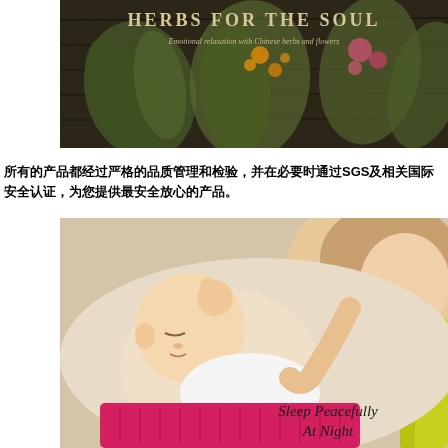[Figure (photo): Book cover image: 'Herbs for the Soul - Emotional relaxation with Chinese herbs and flowers'. Dark rustic wooden background with bunches of dried herbs and colorful flowers hanging.]
所有的产品都经过严格的品质管理和检验，并在必要时通过SGS及相关国际安全认证，为您提供最安全放心的产品。
[Figure (photo): Photo of a sleeping baby and a woman (mother) looking at the baby. Text overlay reads 'Sleep Peacefully At Night'. Baby is wrapped in a pink knit blanket.]